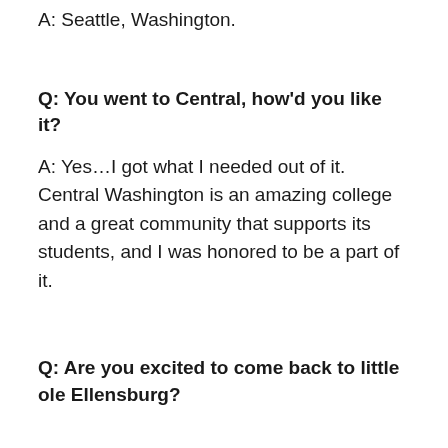A: Seattle, Washington.
Q: You went to Central, how'd you like it?
A: Yes…I got what I needed out of it. Central Washington is an amazing college and a great community that supports its students, and I was honored to be a part of it.
Q: Are you excited to come back to little ole Ellensburg?